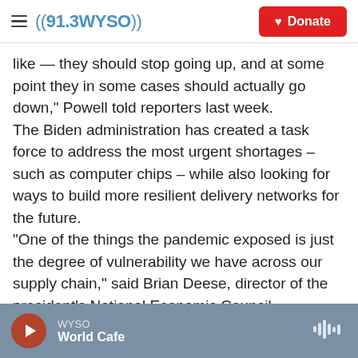((91.3WYSO)) Donate
like — they should stop going up, and at some point they in some cases should actually go down," Powell told reporters last week.
The Biden administration has created a task force to address the most urgent shortages – such as computer chips – while also looking for ways to build more resilient delivery networks for the future.
"One of the things the pandemic exposed is just the degree of vulnerability we have across our supply chain," said Brian Deese, director of the president's National Economic Council.
WYSO World Cafe